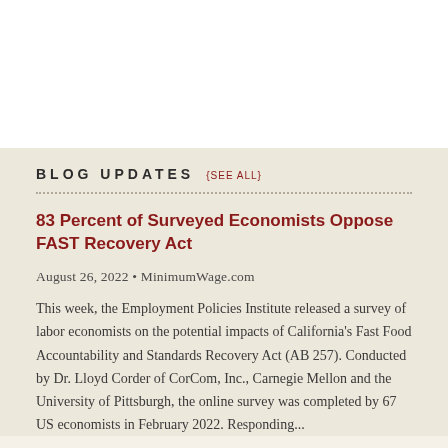BLOG UPDATES {SEE ALL}
83 Percent of Surveyed Economists Oppose FAST Recovery Act
August 26, 2022 • MinimumWage.com
This week, the Employment Policies Institute released a survey of labor economists on the potential impacts of California's Fast Food Accountability and Standards Recovery Act (AB 257). Conducted by Dr. Lloyd Corder of CorCom, Inc., Carnegie Mellon and the University of Pittsburgh, the online survey was completed by 67 US economists in February 2022. Responding...